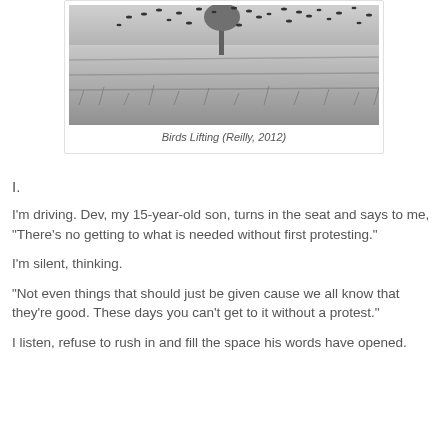[Figure (photo): Black and white photograph of a flock of birds lifting from a grassy field with a tree in the background.]
Birds Lifting (Reilly, 2012)
I.
I'm driving. Dev, my 15-year-old son, turns in the seat and says to me, "There's no getting to what is needed without first protesting."
I'm silent, thinking.
"Not even things that should just be given cause we all know that they're good. These days you can't get to it without a protest."
I listen, refuse to rush in and fill the space his words have opened.